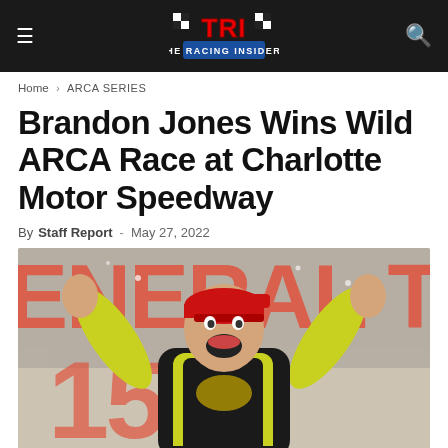TRI — THE RACING INSIDERS
Home › ARCA SERIES
Brandon Jones Wins Wild ARCA Race at Charlotte Motor Speedway
By Staff Report - May 27, 2022
[Figure (photo): Brandon Jones celebrating a race win in victory lane, arms raised, wearing a yellow and black racing suit and red cap, with a General Tire 150 banner in the background]